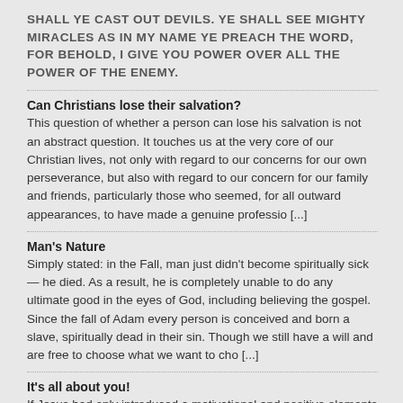SHALL YE CAST OUT DEVILS. YE SHALL SEE MIGHTY MIRACLES AS IN MY NAME YE PREACH THE WORD, FOR BEHOLD, I GIVE YOU POWER OVER ALL THE POWER OF THE ENEMY.
Can Christians lose their salvation?
This question of whether a person can lose his salvation is not an abstract question. It touches us at the very core of our Christian lives, not only with regard to our concerns for our own perseverance, but also with regard to our concern for our family and friends, particularly those who seemed, for all outward appearances, to have made a genuine professio [...]
Man's Nature
Simply stated: in the Fall, man just didn't become spiritually sick — he died. As a result, he is completely unable to do any ultimate good in the eyes of God, including believing the gospel. Since the fall of Adam every person is conceived and born a slave, spiritually dead in their sin. Though we still have a will and are free to choose what we want to cho [...]
It's all about you!
If Jesus had only introduced a motivational and positive elements into His preaching, He would have been more